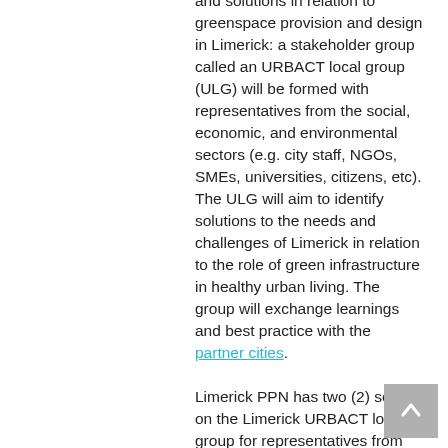and solutions in relation to greenspace provision and design in Limerick: a stakeholder group called an URBACT local group (ULG) will be formed with representatives from the social, economic, and environmental sectors (e.g. city staff, NGOs, SMEs, universities, citizens, etc). The ULG will aim to identify solutions to the needs and challenges of Limerick in relation to the role of green infrastructure in healthy urban living. The group will exchange learnings and best practice with the partner cities.
Limerick PPN has two (2) seats on the Limerick URBACT local group for representatives from the Limerick Metropolitan municipal district.